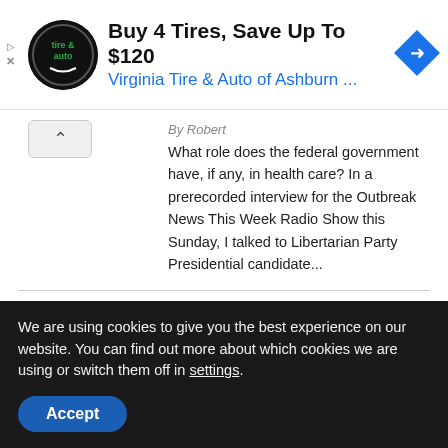[Figure (other): Advertisement banner: Virginia Tire & Auto of Ashburn logo (circular, black background with tire and auto text), headline 'Buy 4 Tires, Save Up To $120', subtext 'Virginia Tire & Auto of Ashburn ...', blue diamond arrow icon on right, play and X controls on left]
By Robert
What role does the federal government have, if any, in health care? In a prerecorded interview for the Outbreak News This Week Radio Show this Sunday, I talked to Libertarian Party Presidential candidate...
[Figure (photo): Microscopic image showing curved dark worm-like organisms (syphilis bacteria spirochetes) on a light grey background]
Amarillo Public Heath issues syphilis alert
By Staff
For the second time in as many
We are using cookies to give you the best experience on our website. You can find out more about which cookies we are using or switch them off in settings.
Accept